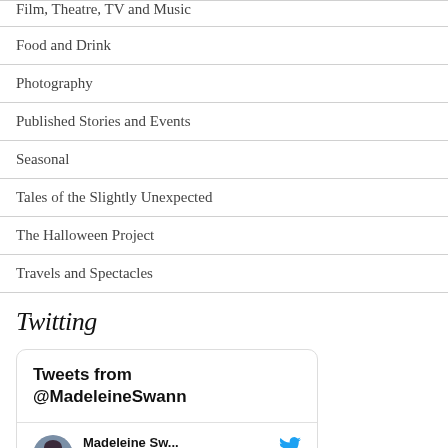Film, Theatre, TV and Music
Food and Drink
Photography
Published Stories and Events
Seasonal
Tales of the Slightly Unexpected
The Halloween Project
Travels and Spectacles
Twitting
[Figure (screenshot): Twitter widget showing 'Tweets from @MadeleineSwann' header and a tweet card with avatar of Madeleine Sw... and Twitter bird logo]